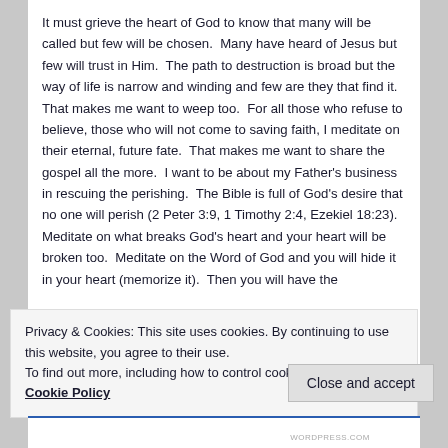It must grieve the heart of God to know that many will be called but few will be chosen.  Many have heard of Jesus but few will trust in Him.  The path to destruction is broad but the way of life is narrow and winding and few are they that find it.  That makes me want to weep too.  For all those who refuse to believe, those who will not come to saving faith, I meditate on their eternal, future fate.  That makes me want to share the gospel all the more.  I want to be about my Father's business in rescuing the perishing.  The Bible is full of God's desire that no one will perish (2 Peter 3:9, 1 Timothy 2:4, Ezekiel 18:23).  Meditate on what breaks God's heart and your heart will be broken too.  Meditate on the Word of God and you will hide it in your heart (memorize it).  Then you will have the
Privacy & Cookies: This site uses cookies. By continuing to use this website, you agree to their use.
To find out more, including how to control cookies, see here: Cookie Policy